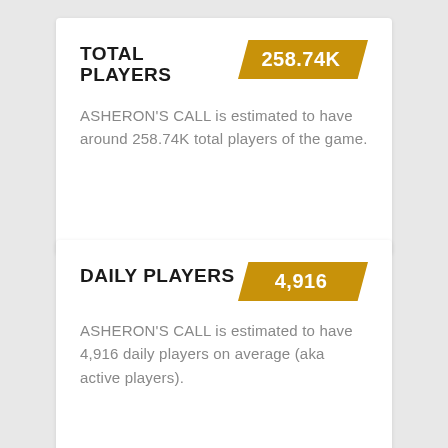TOTAL PLAYERS
258.74K
ASHERON'S CALL is estimated to have around 258.74K total players of the game.
DAILY PLAYERS
4,916
ASHERON'S CALL is estimated to have 4,916 daily players on average (aka active players).